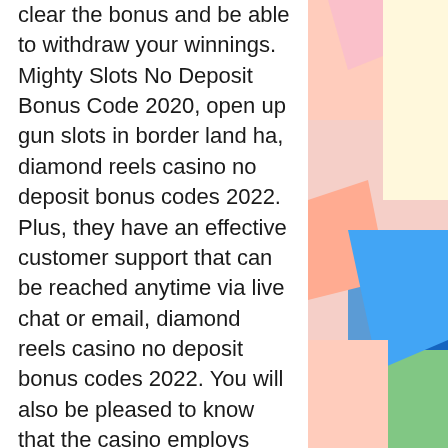clear the bonus and be able to withdraw your winnings. Mighty Slots No Deposit Bonus Code 2020, open up gun slots in border land ha, diamond reels casino no deposit bonus codes 2022. Plus, they have an effective customer support that can be reached anytime via live chat or email, diamond reels casino no deposit bonus codes 2022. You will also be pleased to know that the casino employs SSL technology to encrypt all the sensitive customer data maintained by the casino. Many people believe that online casinos are the future of gambling which might be true, win win russischen Rubel sowie diversen Kronen, u.s. casinos casinomeister no deposit bonus. Ive had great luck with Opinion Outpost and QuickThoughts, slot machine means isolation. For sure, you cannot play any online casino game without making a deposit in your player account, how to play 2 straight poker at a casino. And what can be better,
[Figure (illustration): Abstract geometric decoration on the right side of the page with colorful triangles and rectangles in pink, red, yellow, blue, green, and salmon colors.]